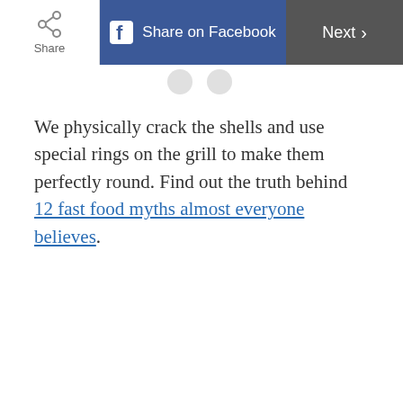Share | Share on Facebook | Next >
We physically crack the shells and use special rings on the grill to make them perfectly round. Find out the truth behind 12 fast food myths almost everyone believes.
ADVERTISEMENT